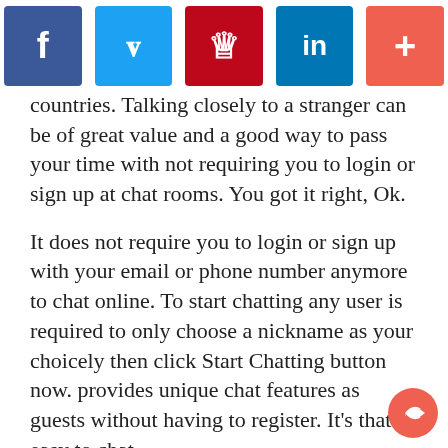[Figure (other): Social share buttons bar: Facebook (blue), Twitter (light blue), Pinterest (red), LinkedIn (blue), Plus/more (orange-red)]
countries. Talking closely to a stranger can be of great value and a good way to pass your time with not requiring you to login or sign up at chat rooms. You got it right, Ok.
It does not require you to login or sign up with your email or phone number anymore to chat online. To start chatting any user is required to only choose a nickname as your choicely then click Start Chatting button now. provides unique chat features as guests without having to register. It's that easy to chat.
online chat rooms features:
No login or Sign Up, No Register it's FREE forever.